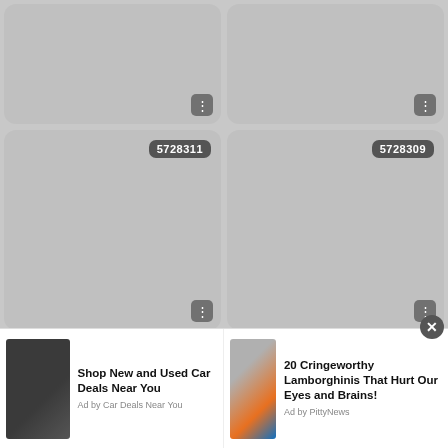[Figure (screenshot): Grid of image cards, top row (partial): two gray placeholder cards with three-dot menus, no ID labels visible]
[Figure (screenshot): Card with ID label 5728311 and three-dot menu button]
[Figure (screenshot): Card with ID label 5728309 and three-dot menu button]
[Figure (screenshot): Card with ID label 5728308]
[Figure (screenshot): Card with ID label 5728307]
[Figure (screenshot): Advertisement banner: Shop New and Used Car Deals Near You (Ad by Car Deals Near You) and 20 Cringeworthy Lamborghinis That Hurt Our Eyes and Brains! (Ad by PittyNews)]